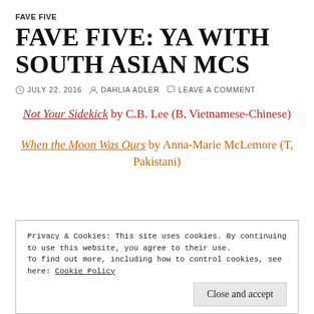FAVE FIVE
FAVE FIVE: YA WITH SOUTH ASIAN MCS
JULY 22, 2016  DAHLIA ADLER  LEAVE A COMMENT
Not Your Sidekick by C.B. Lee (B, Vietnamese-Chinese)
When the Moon Was Ours by Anna-Marie McLemore (T, Pakistani)
Privacy & Cookies: This site uses cookies. By continuing to use this website, you agree to their use. To find out more, including how to control cookies, see here: Cookie Policy
Close and accept